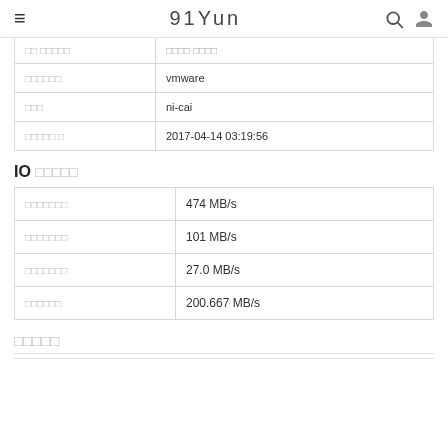91Yun
| □□□□□□ | vmware |
| □□□ | ni-cai |
| □□□□□ □ | 2017-04-14 03:19:56 |
IO □□□□□
| □□□□□□□ | 474 MB/s |
| □□□□□□□ | 101 MB/s |
| □□□□□□□ | 27.0 MB/s |
| □□□□□□ | 200.667 MB/s |
□□□□□